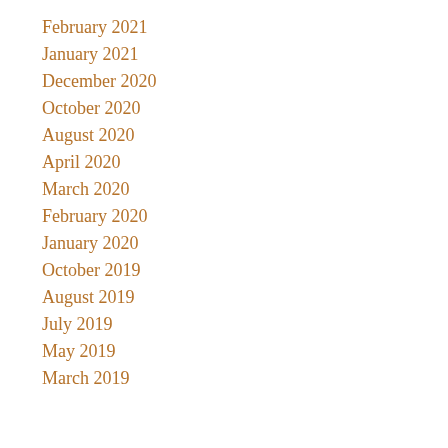February 2021
January 2021
December 2020
October 2020
August 2020
April 2020
March 2020
February 2020
January 2020
October 2019
August 2019
July 2019
May 2019
March 2019